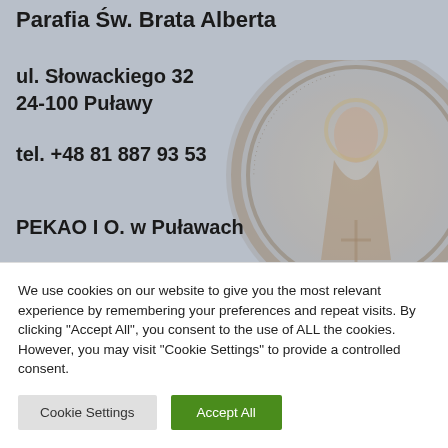Parafia Św. Brata Alberta
ul. Słowackiego 32
24-100 Puławy
tel. +48 81 887 93 53
[Figure (illustration): Circular religious emblem/seal featuring a figure of a saint, semi-transparent watermark in background]
PEKAO I O. w Puławach
We use cookies on our website to give you the most relevant experience by remembering your preferences and repeat visits. By clicking "Accept All", you consent to the use of ALL the cookies. However, you may visit "Cookie Settings" to provide a controlled consent.
Cookie Settings
Accept All